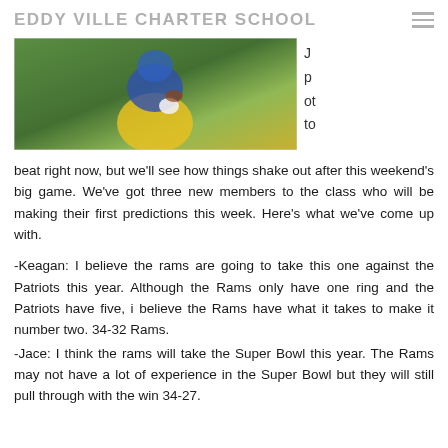EDDY VILLE CHARTER SCHOOL
[Figure (photo): Football player in yellow uniform and blue shirt, holding a ball, on a green field.]
beat right now, but we'll see how things shake out after this weekend's big game. We've got three new members to the class who will be making their first predictions this week. Here's what we've come up with.
-Keagan: I believe the rams are going to take this one against the Patriots this year. Although the Rams only have one ring and the Patriots have five, i believe the Rams have what it takes to make it number two. 34-32 Rams.
-Jace: I think the rams will take the Super Bowl this year. The Rams may not have a lot of experience in the Super Bowl but they will still pull through with the win 34-27.